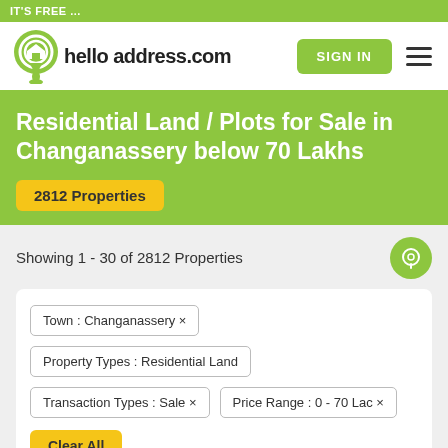IT'S FREE ...
[Figure (logo): helloaddress.com logo with green location pin icon containing a house]
SIGN IN
Residential Land / Plots for Sale in Changanassery below 70 Lakhs
2812 Properties
Showing 1 - 30 of 2812 Properties
Town : Changanassery ×
Property Types : Residential Land
Transaction Types : Sale ×
Price Range : 0 - 70 Lac ×
Clear All